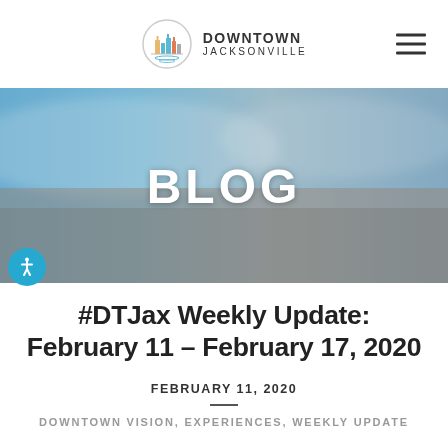DOWNTOWN JACKSONVILLE
[Figure (photo): Blurred aerial/cityscape photo of downtown Jacksonville used as hero banner background with text BLOG overlaid in white bold letters]
#DTJax Weekly Update: February 11 – February 17, 2020
FEBRUARY 11, 2020
DOWNTOWN VISION, EXPERIENCES, WEEKLY UPDATE